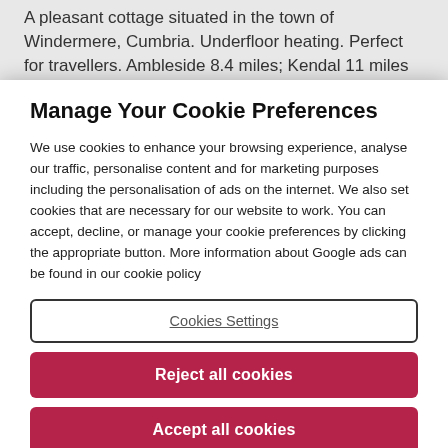A pleasant cottage situated in the town of Windermere, Cumbria. Underfloor heating. Perfect for travellers. Ambleside 8.4 miles; Kendal 11 miles
Manage Your Cookie Preferences
We use cookies to enhance your browsing experience, analyse our traffic, personalise content and for marketing purposes including the personalisation of ads on the internet. We also set cookies that are necessary for our website to work. You can accept, decline, or manage your cookie preferences by clicking the appropriate button. More information about Google ads can be found in our cookie policy
Cookies Settings
Reject all cookies
Accept all cookies